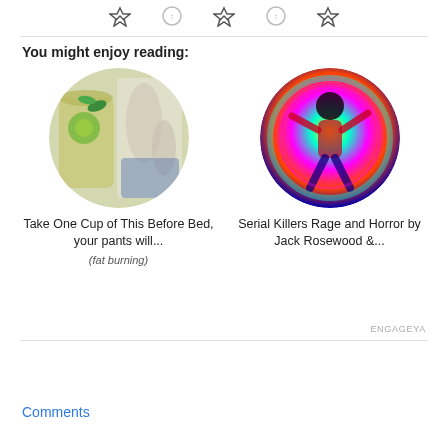[Figure (illustration): Row of small social/voting icons (hearts with arrows) at the top of the page]
You might enjoy reading:
[Figure (photo): Circular thumbnail of a drink with lime and mint leaves, and a person in background]
Take One Cup of This Before Bed, your pants will...
(fat burning)
[Figure (photo): Circular thumbnail showing a colorful psychedelic image of a person dancing]
Serial Killers Rage and Horror by Jack Rosewood &...
ENGAGEYA
[Figure (other): Tweet button with Twitter bird icon]
Comments